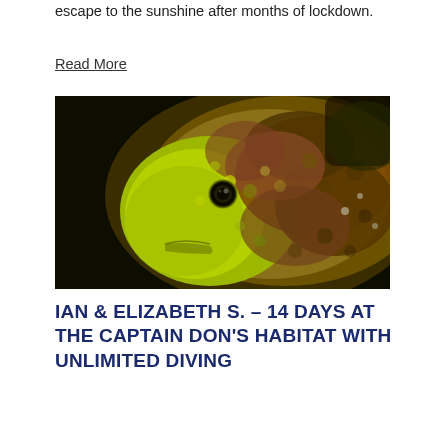This meant we could start thinking of our next diving escape to the sunshine after months of lockdown.
Read More
[Figure (photo): Close-up underwater photograph of a yellow and brown frogfish or similar marine creature with textured bumpy skin, looking directly at the camera against a dark background.]
IAN & ELIZABETH S. – 14 DAYS AT THE CAPTAIN DON'S HABITAT WITH UNLIMITED DIVING